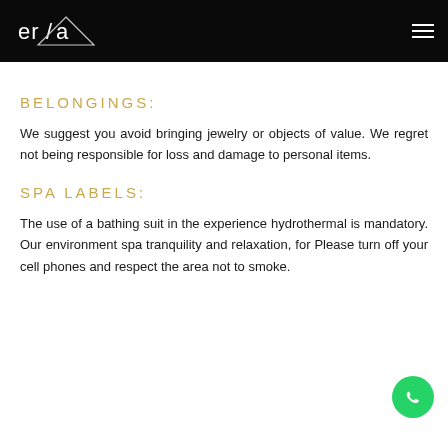era [logo]
BELONGINGS:
We suggest you avoid bringing jewelry or objects of value. We regret not being responsible for loss and damage to personal items.
SPA LABELS:
The use of a bathing suit in the experience hydrothermal is mandatory. Our environment spa tranquility and relaxation, for Please turn off your cell phones and respect the area not to smoke.